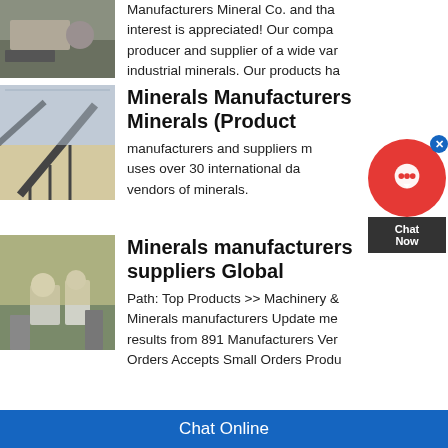[Figure (photo): Mining equipment/machinery photo (partial, top of page)]
Manufacturers Mineral Co. and that interest is appreciated! Our company producer and supplier of a wide variety of industrial minerals. Our products ha...
[Figure (photo): Conveyor belt at a mineral processing facility]
Minerals Manufacturers Minerals (Product
manufacturers and suppliers ... uses over 30 international da... vendors of minerals.
[Figure (photo): Open-pit mining facility with industrial buildings]
Minerals manufacturers suppliers Global
Path: Top Products >> Machinery & Minerals manufacturers Update me... results from 891 Manufacturers Veri... Orders Accepts Small Orders Produ...
[Figure (other): Chat Now widget overlay with red circle icon and dark Chat Now box]
Chat Online